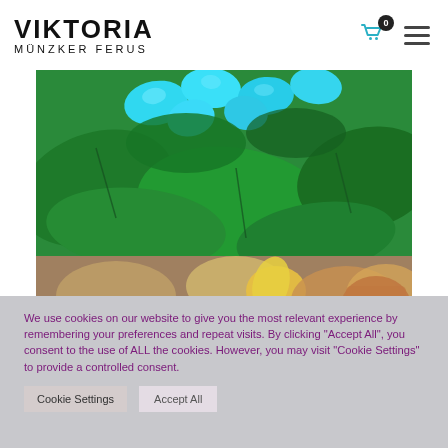VIKTORIA MÜNZKER FERUS
[Figure (photo): Close-up photo of bright cyan/turquoise flower petals against lush green leaves]
[Figure (photo): Blurred workshop or studio scene with yellow and brown objects on a surface]
We use cookies on our website to give you the most relevant experience by remembering your preferences and repeat visits. By clicking "Accept All", you consent to the use of ALL the cookies. However, you may visit "Cookie Settings" to provide a controlled consent.
Cookie Settings
Accept All